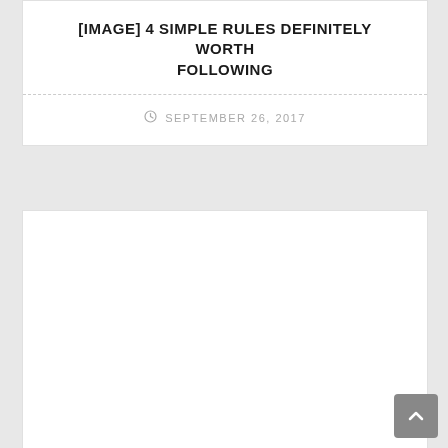[IMAGE] 4 SIMPLE RULES DEFINITELY WORTH FOLLOWING
SEPTEMBER 26, 2017
[Figure (other): Empty white content area below the article header]
[Figure (other): Back to top button - gray rounded square with upward chevron arrow]